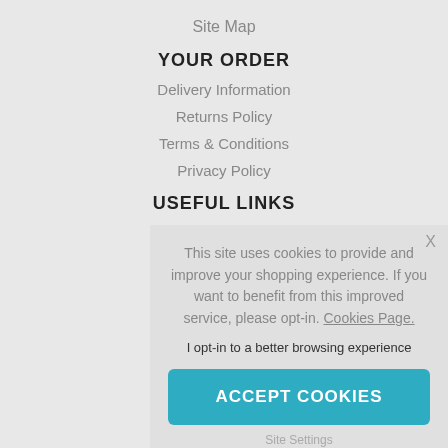Site Map
YOUR ORDER
Delivery Information
Returns Policy
Terms & Conditions
Privacy Policy
USEFUL LINKS
This site uses cookies to provide and improve your shopping experience. If you want to benefit from this improved service, please opt-in. Cookies Page.
I opt-in to a better browsing experience
ACCEPT COOKIES
Site Settings